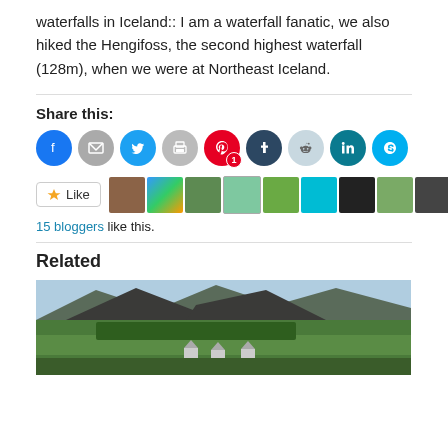waterfalls in Iceland::  I am a waterfall fanatic, we also hiked the Hengifoss,  the second highest waterfall (128m), when we were at Northeast Iceland.
Share this:
[Figure (infographic): Social share buttons: Facebook (blue), Email (gray), Twitter (cyan), Print (gray), Pinterest (red, count 1), Tumblr (dark navy), Reddit (light gray), LinkedIn (teal), Skype (teal)]
[Figure (infographic): Like button and avatar strip showing 15 bloggers like this]
15 bloggers like this.
Related
[Figure (photo): Landscape photo of Iceland countryside with mountains, trees, and small triangular-roofed buildings on green fields]